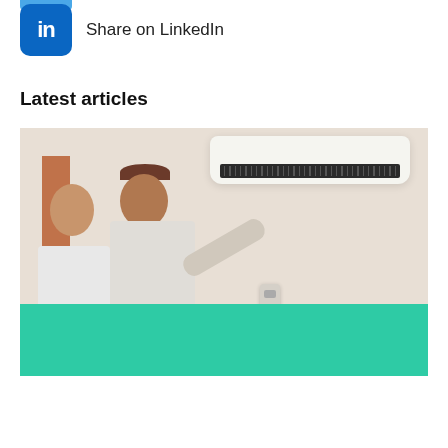[Figure (logo): Partial blue social share button at top]
Share on LinkedIn
Latest articles
[Figure (photo): Photo of a couple using a remote control to operate a wall-mounted reverse cycle air conditioner. Woman with long red hair and man in white t-shirt pointing remote at AC unit. Teal/green overlay banner at bottom with white bold text: Why a reverse cycle air conditioner is]
Why a reverse cycle air conditioner is